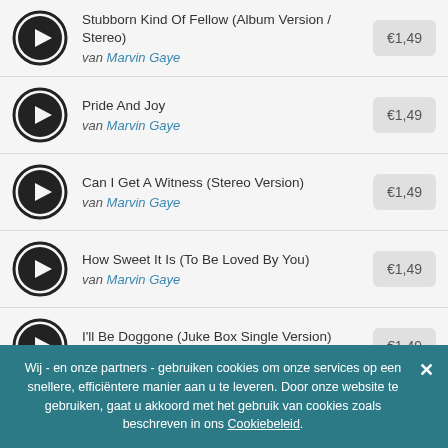Stubborn Kind Of Fellow (Album Version / Stereo) van Marvin Gaye €1,49
Pride And Joy van Marvin Gaye €1,49
Can I Get A Witness (Stereo Version) van Marvin Gaye €1,49
How Sweet It Is (To Be Loved By You) van Marvin Gaye €1,49
I'll Be Doggone (Juke Box Single Version) van Marvin Gaye €1,49
Wij - en onze partners - gebruiken cookies om onze services op een snellere, efficiëntere manier aan u te leveren. Door onze website te gebruiken, gaat u akkoord met het gebruik van cookies zoals beschreven in ons Cookiebeleid.